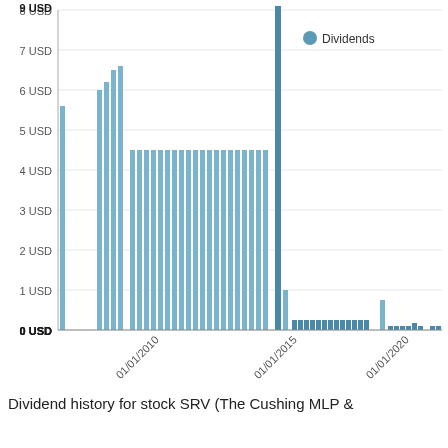[Figure (bar-chart): Dividend history for stock SRV]
Dividend history for stock SRV (The Cushing MLP &